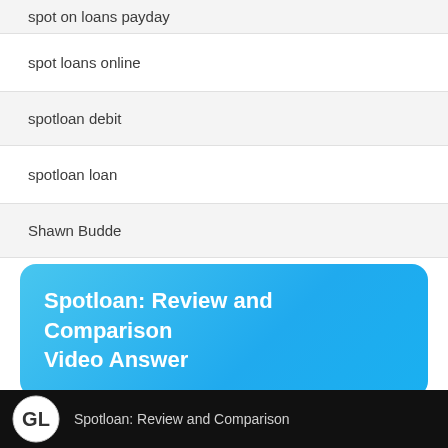spot on loans payday
spot loans online
spotloan debit
spotloan loan
Shawn Budde
Spotloan: Review and Comparison Video Answer
[Figure (screenshot): Video thumbnail with dark background showing GL logo and text 'Spotloan: Review and Comparison']